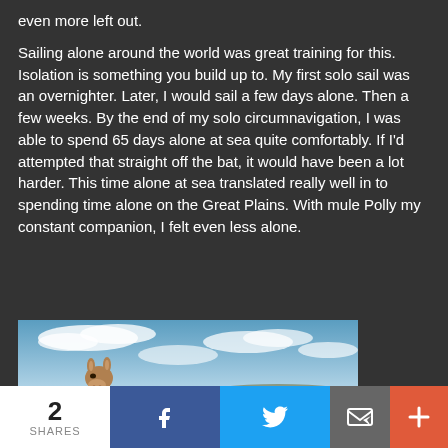even more left out.
Sailing alone around the world was great training for this. Isolation is something you build up to. My first solo sail was an overnighter. Later, I would sail a few days alone. Then a few weeks. By the end of my solo circumnavigation, I was able to spend 65 days alone at sea quite comfortably. If I'd attempted that straight off the bat, it would have been a lot harder. This time alone at sea translated really well in to spending time alone on the Great Plains. With mule Polly my constant companion, I felt even less alone.
[Figure (photo): A mule's head peeking up above the horizon against a cloudy blue sky on the Great Plains.]
2 SHARES | Facebook | Twitter | Email | More